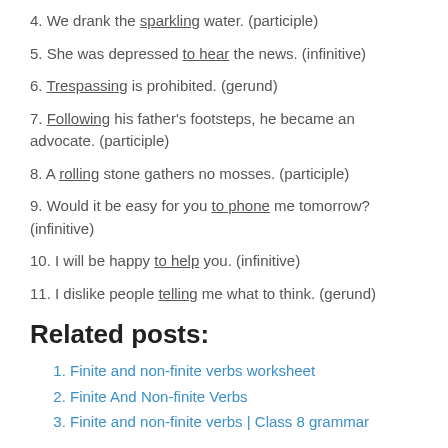4. We drank the sparkling water. (participle)
5. She was depressed to hear the news. (infinitive)
6. Trespassing is prohibited. (gerund)
7. Following his father's footsteps, he became an advocate. (participle)
8. A rolling stone gathers no mosses. (participle)
9. Would it be easy for you to phone me tomorrow? (infinitive)
10. I will be happy to help you. (infinitive)
11. I dislike people telling me what to think. (gerund)
Related posts:
Finite and non-finite verbs worksheet
Finite And Non-finite Verbs
Finite and non-finite verbs | Class 8 grammar